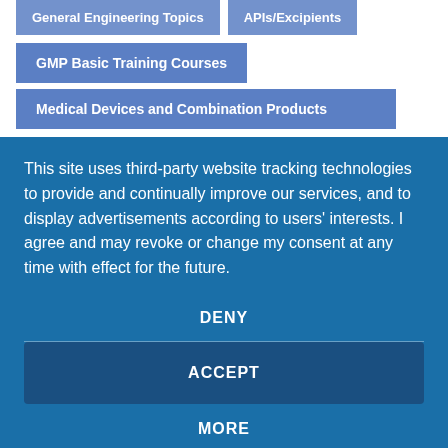General Engineering Topics
APIs/Excipients
GMP Basic Training Courses
Medical Devices and Combination Products
This site uses third-party website tracking technologies to provide and continually improve our services, and to display advertisements according to users' interests. I agree and may revoke or change my consent at any time with effect for the future.
DENY
ACCEPT
MORE
Powered by  usercentrics  &  eRecht24